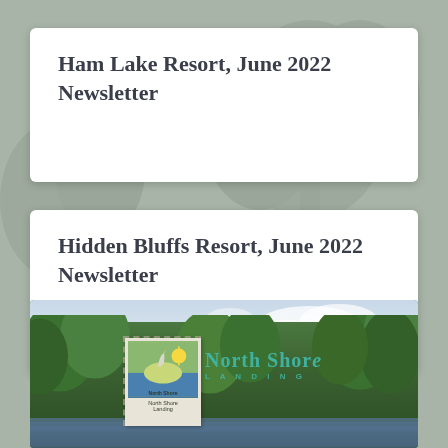Ham Lake Resort, June 2022 Newsletter
Hidden Bluffs Resort, June 2022 Newsletter
[Figure (photo): Outdoor photo showing green trees against a partly cloudy sky with a lake visible in the background. A decorative postage stamp featuring 'North Shore' imagery overlays the left side, and 'North Shore Landing' text appears in teal on the right.]